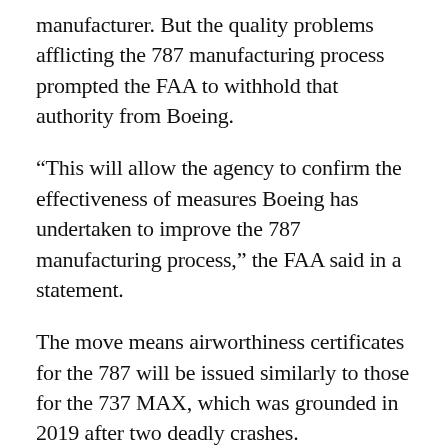manufacturer. But the quality problems afflicting the 787 manufacturing process prompted the FAA to withhold that authority from Boeing.
“This will allow the agency to confirm the effectiveness of measures Boeing has undertaken to improve the 787 manufacturing process,” the FAA said in a statement.
The move means airworthiness certificates for the 787 will be issued similarly to those for the 737 MAX, which was grounded in 2019 after two deadly crashes.
Ever since the FAA approved the MAX to return to